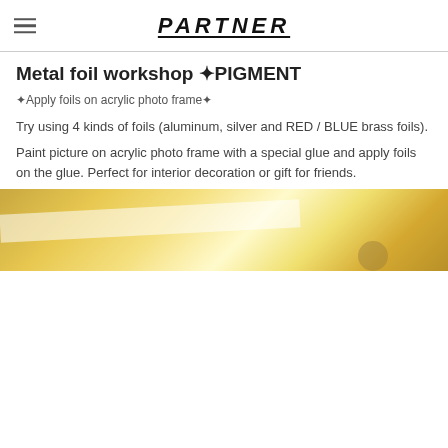PARTNER
Metal foil workshop ✦PIGMENT
✦Apply foils on acrylic photo frame✦
Try using 4 kinds of foils (aluminum, silver and RED / BLUE brass foils).
Paint picture on acrylic photo frame with a special glue and apply foils on the glue. Perfect for interior decoration or gift for friends.
[Figure (photo): Close-up photo of gold/metallic foils on a white acrylic frame, showing shimmering golden and yellow tones.]